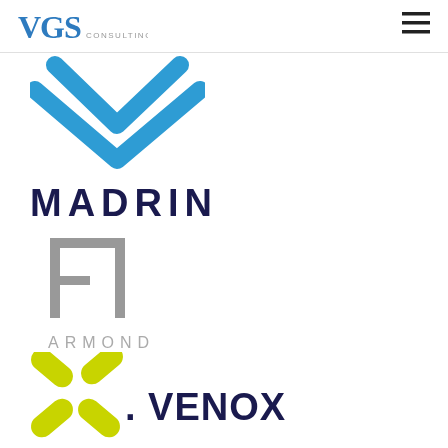[Figure (logo): VGS Consulting logo with large 'VGS' in blue serif font and 'CONSULTING' in small gray letters]
[Figure (logo): Blue chevron/double-check mark logo (W shape with check)]
[Figure (logo): MADRIN logo in dark navy bold spaced uppercase letters]
[Figure (logo): Armond logo with abstract gray bracket/E-F geometric symbol above gray spaced uppercase 'ARMOND' text]
[Figure (logo): Venox logo with yellow-green X cross/scissors icon and dark navy bold 'VENOX' text]